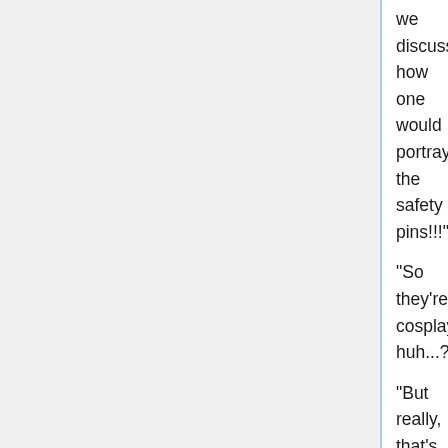we discuss how one would portray the safety pins!!!"
"So they're cosplayers, huh...?"
"But really, that's a scarily accurate reproduction. Let's go ask how they did it! Wheee!!"
Saying that, Karisawa stretched her arms out horizontally while holding on to her plastic bag and charged off like a plane taking off.
The cosplay(?) girls were saying some things as they looked through the window.
It looks like they weren't browsing the shop's merchandise.
"Well, it's based in German, but there's a lot of phrases in some sort of dialect, so it's hard to decipher..."